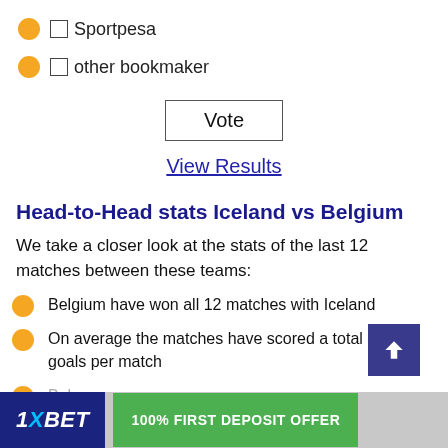Sportpesa
other bookmaker
Vote
View Results
Head-to-Head stats Iceland vs Belgium
We take a closer look at the stats of the last 12 matches between these teams:
Belgium have won all 12 matches with Iceland
On average the matches have scored a total of 4.10 goals per match
Belg...
[Figure (other): 1XBET advertisement banner: 100% FIRST DEPOSIT OFFER]